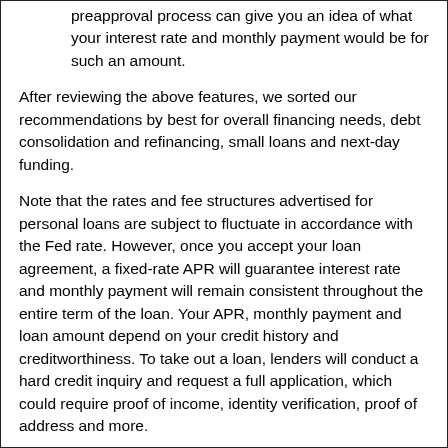preapproval process can give you an idea of what your interest rate and monthly payment would be for such an amount.
After reviewing the above features, we sorted our recommendations by best for overall financing needs, debt consolidation and refinancing, small loans and next-day funding.
Note that the rates and fee structures advertised for personal loans are subject to fluctuate in accordance with the Fed rate. However, once you accept your loan agreement, a fixed-rate APR will guarantee interest rate and monthly payment will remain consistent throughout the entire term of the loan. Your APR, monthly payment and loan amount depend on your credit history and creditworthiness. To take out a loan, lenders will conduct a hard credit inquiry and request a full application, which could require proof of income, identity verification, proof of address and more.